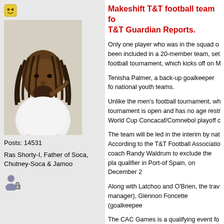[Figure (photo): Small yellow emoji/icon square at top left of left column]
[Figure (photo): Portrait photo of a man with dreadlocks wearing a white shirt, light background]
Posts: 14531
Ras Shorty-I, Father of Soca, Chutney-Soca & Jamoo
[Figure (illustration): Small user/person icon with a lock symbol]
Makeshift T&T football team fo T&T Guardian Reports.
Only one player who was in the squad o been included in a 20-member team, set football tournament, which kicks off on M
Tenisha Palmer, a back-up goalkeeper fo national youth teams.
Unlike the men's football tournament, wh tournament is open and has no age restr World Cup Concacaf/Comnebol playoff c
The team will be led in the interim by nat According to the T&T Football Associatio coach Randy Waldrum to exclude the pla qualifier in Port-of Spain, on December 2
Along with Latchoo and O'Brien, the trav manager), Glennon Foncette (goalkeepee
The CAC Games is a qualifying event fo the 2016 Summer Olympics in Rio de Ja